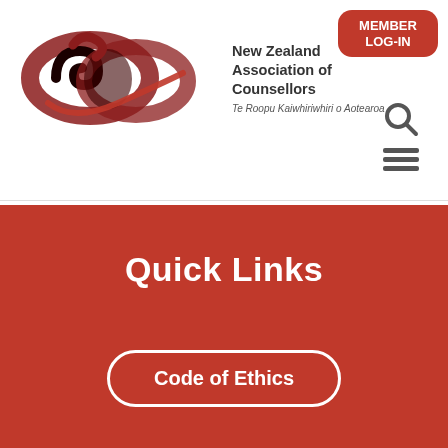[Figure (logo): New Zealand Association of Counsellors logo with Maori koru design and organization name]
MEMBER
LOG-IN
Quick Links
Code of Ethics